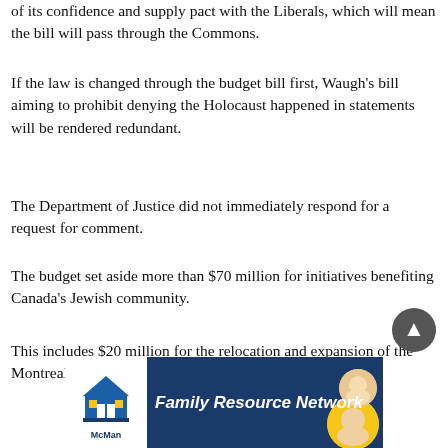of its confidence and supply pact with the Liberals, which will mean the bill will pass through the Commons.
If the law is changed through the budget bill first, Waugh's bill aiming to prohibit denying the Holocaust happened in statements will be rendered redundant.
The Department of Justice did not immediately respond for a request for comment.
The budget set aside more than $70 million for initiatives benefiting Canada's Jewish community.
This includes $20 million for the relocation and expansion of the Montreal Holocaust Museum and $2.5 million to support
[Figure (other): McMan Family Resource Network advertisement banner with logo on left and text on dark blue background]